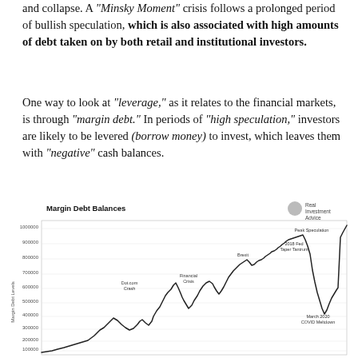and collapse. A "Minsky Moment" crisis follows a prolonged period of bullish speculation, which is also associated with high amounts of debt taken on by both retail and institutional investors.
One way to look at "leverage," as it relates to the financial markets, is through "margin debt." In periods of "high speculation," investors are likely to be levered (borrow money) to invest, which leaves them with "negative" cash balances.
[Figure (continuous-plot): Line chart showing margin debt balances over time with annotations for key events: Dot.com Crash, Financial Crisis, Brexit, 2018 Fed Taper Tantrum, March 2020 COVID Meltdown, and Peak Speculation. The y-axis ranges from around 0 to over 900000, with the line showing a sharp rise to the far right reaching near 1000000.]